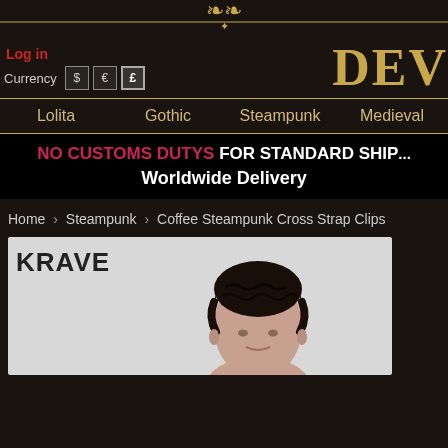[Figure (screenshot): Ornamental gold header decoration with scrollwork motif]
Log in | Currency $ € £ | DEV (brand name partial)
Lolita   Gothic   Steampunk   Medieval
NO CUSTOMS DUTYS FOR STANDARD SHIP... Worldwide Delivery
Home > Steampunk > Coffee Steampunk Cross Strap Clips
[Figure (photo): Product page image showing a male model with dark wavy hair against a light grey background, with KRAVE branding text visible]